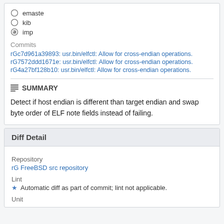emaste
kib
imp
Commits
rGc7d961a39893: usr.bin/elfctl: Allow for cross-endian operations.
rG7572ddd1671e: usr.bin/elfctl: Allow for cross-endian operations.
rG4a27bf128b10: usr.bin/elfctl: Allow for cross-endian operations.
SUMMARY
Detect if host endian is different than target endian and swap byte order of ELF note fields instead of failing.
Diff Detail
Repository
rG FreeBSD src repository
Lint
Automatic diff as part of commit; lint not applicable.
Unit